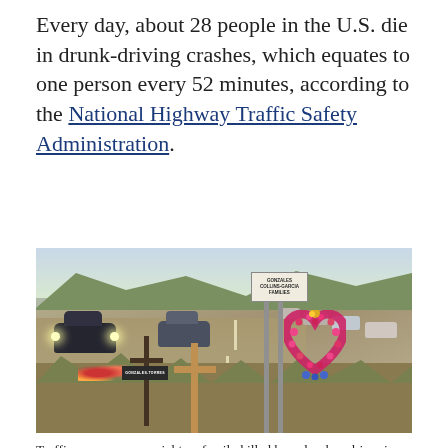Every day, about 28 people in the U.S. die in drunk-driving crashes, which equates to one person every 52 minutes, according to the National Highway Traffic Safety Administration.
[Figure (photo): A roadside memorial with crosses and a heart-shaped floral wreath along a highway near Santa Fe, New Mexico. Traffic is visible passing on the road behind the memorial.]
Traffic passes a memorial to a family killed by a drunken driver in a file image taken near Santa Fe, New Mexico. (Photo by Steven Clevenger/Corbis via Getty Images)